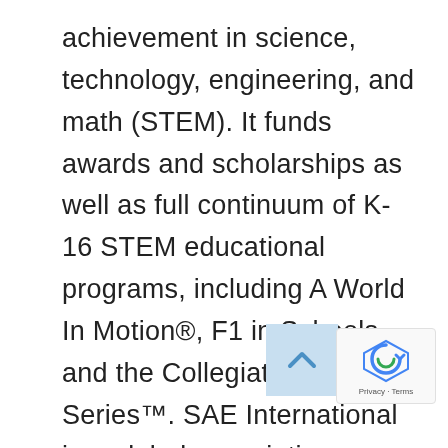achievement in science, technology, engineering, and math (STEM). It funds awards and scholarships as well as full continuum of K-16 STEM educational programs, including A World In Motion®, F1 in Schools, and the Collegiate Design Series™. SAE International is a global association committed to being the ultimate knowledge source for the engineering profession. By uniting over 137,000 engineers and technical experts, we drive knowledge and expertise across a broad spectrum of industries. We act on two priorities: encouraging a lifetime of learning for mobility engineering professionals and setting the standards